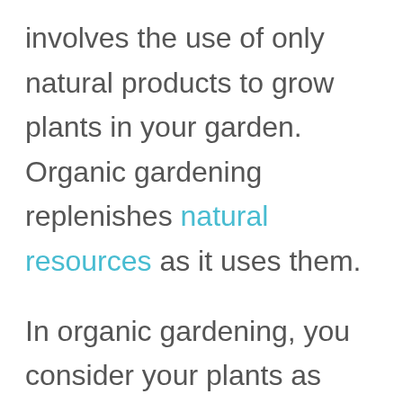involves the use of only natural products to grow plants in your garden. Organic gardening replenishes natural resources as it uses them.
In organic gardening, you consider your plants as part of the larger natural system that begins with the soil and includes water supply, the wildlife; insects and people.